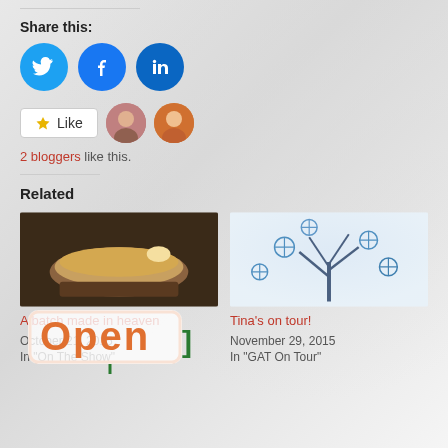Share this:
[Figure (other): Social share icons: Twitter (blue bird), Facebook (blue f), LinkedIn (blue in)]
[Figure (other): Like button with star icon and two blogger avatars. Text: 2 bloggers like this.]
2 bloggers like this.
Related
[Figure (photo): Photo of a croissant or pastry sandwich on a wooden board with butter]
A batch made in heaven
October 21, 2015
In "On The Show"
[Figure (photo): Photo of a blue snowflake tree winter illustration]
Tina's on tour!
November 29, 2015
In "GAT On Tour"
[Figure (photo): Open sign illustration with orange and green text]